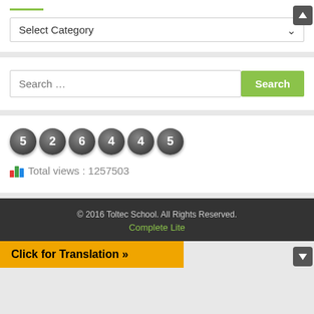[Figure (screenshot): Select Category dropdown input box with green line above]
[Figure (screenshot): Search input field with green Search button]
[Figure (screenshot): View counter showing digits 5 2 6 4 4 5 with bar chart icon and 'Total views : 1257503' label]
© 2016 Toltec School. All Rights Reserved. Complete Lite
Click for Translation »